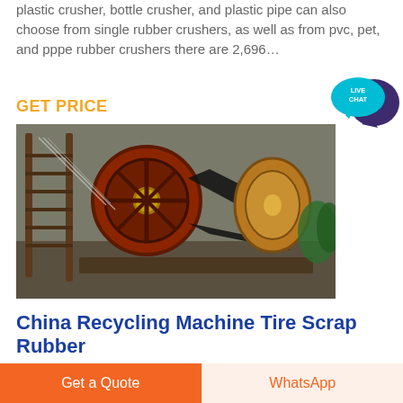plastic crusher, bottle crusher, and plastic pipe can also choose from single rubber crushers, as well as from pvc, pet, and pppe rubber crushers there are 2,696…
GET PRICE
[Figure (photo): Industrial rubber/tire crusher machine with large belt-drive pulleys and metal frame, photographed outdoors]
China Recycling Machine Tire Scrap Rubber
Recycling Machine Tire Scrap Rubber Powder Crushe…
Get a Quote
WhatsApp